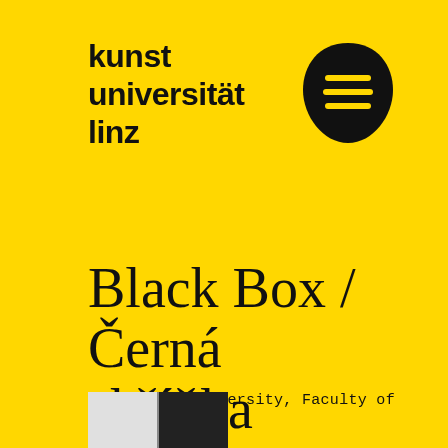kunst universität linz
[Figure (logo): Kunstuniversität Linz logo: black guitar-pick/shield shape with three horizontal white lines (hamburger menu icon)]
LATE: NETWORKED
Black Box / Černá skříňka
by Masaryk University, Faculty of Arts, Brno
[Figure (thumbnail): Small thumbnail image at bottom left showing two panels: a light/gray panel and a dark/black panel with document imagery]